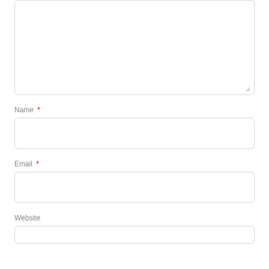[Figure (screenshot): A web form showing a comment textarea (partially visible at top), followed by fields for Name (required), Email (required), and Website (partially visible at bottom). Each field has a label with a red asterisk for required fields and a rounded rectangular input box.]
Name *
Email *
Website